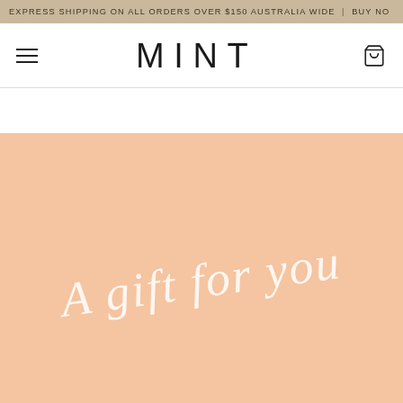EXPRESS SHIPPING ON ALL ORDERS OVER $150 AUSTRALIA WIDE | BUY NO
MINT
[Figure (illustration): Peach/apricot colored gift card background with white cursive script text reading 'A gift for you']